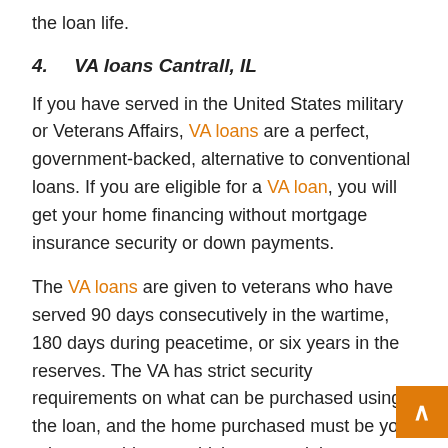the loan life.
4.    VA loans Cantrall, IL
If you have served in the United States military or Veterans Affairs, VA loans are a perfect, government-backed, alternative to conventional loans. If you are eligible for a VA loan, you will get your home financing without mortgage insurance security or down payments.
The VA loans are given to veterans who have served 90 days consecutively in the wartime, 180 days during peacetime, or six years in the reserves. The VA has strict security requirements on what can be purchased using the loan, and the home purchased must be your primary residence, which meets minimum property requirements.
5.    USDA loan Cantrall, IL
USDA is a government-backed Rural Development loan which is designed for families in rural areas. The loan does